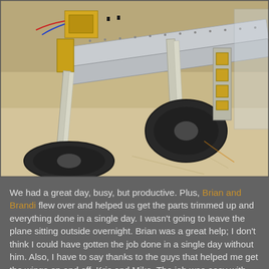[Figure (photo): Photograph of an aircraft under construction showing landing gear assemblies, aluminum structural components, wheels, and metal framework on a concrete garage floor.]
We had a great day, busy, but productive. Plus, Brian and Brandi flew over and helped us get the parts trimmed up and everything done in a single day. I wasn't going to leave the plane sitting outside overnight. Brian was a great help; I don't think I could have gotten the job done in a single day without him. Also, I have to say thanks to the guys that helped me get the wings on and off, Kris and Mike. The job was easy with three people. With all the commotion of the day, people coming and going, I didn't get a chance to take pictures of